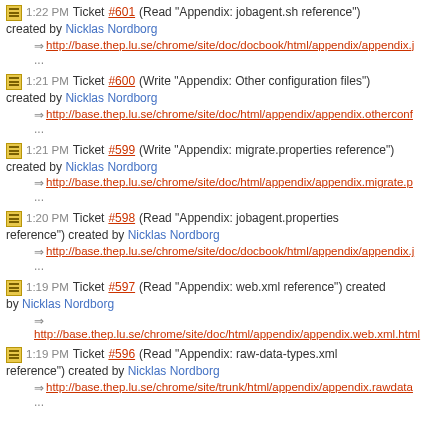1:22 PM Ticket #601 (Read "Appendix: jobagent.sh reference") created by Nicklas Nordborg
http://base.thep.lu.se/chrome/site/doc/docbook/html/appendix/appendix.j ...
1:21 PM Ticket #600 (Write "Appendix: Other configuration files") created by Nicklas Nordborg
http://base.thep.lu.se/chrome/site/doc/html/appendix/appendix.otherconf ...
1:21 PM Ticket #599 (Write "Appendix: migrate.properties reference") created by Nicklas Nordborg
http://base.thep.lu.se/chrome/site/doc/html/appendix/appendix.migrate.p ...
1:20 PM Ticket #598 (Read "Appendix: jobagent.properties reference") created by Nicklas Nordborg
http://base.thep.lu.se/chrome/site/doc/docbook/html/appendix/appendix.j ...
1:19 PM Ticket #597 (Read "Appendix: web.xml reference") created by Nicklas Nordborg
http://base.thep.lu.se/chrome/site/doc/html/appendix/appendix.web.xml.html ...
1:19 PM Ticket #596 (Read "Appendix: raw-data-types.xml reference") created by Nicklas Nordborg
http://base.thep.lu.se/chrome/site/trunk/html/appendix/appendix.rawdata ...